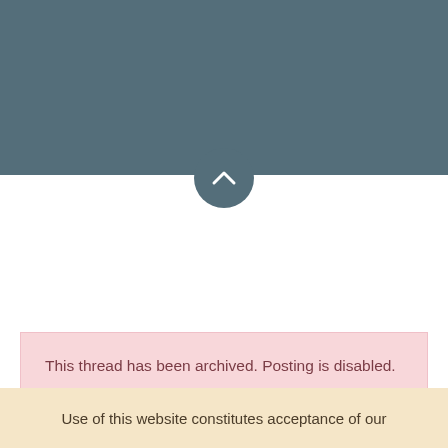[Figure (other): Steel-blue header bar at top of page with a circular button containing a chevron/up-arrow icon at its bottom center]
This thread has been archived. Posting is disabled.
Use of this website constitutes acceptance of our